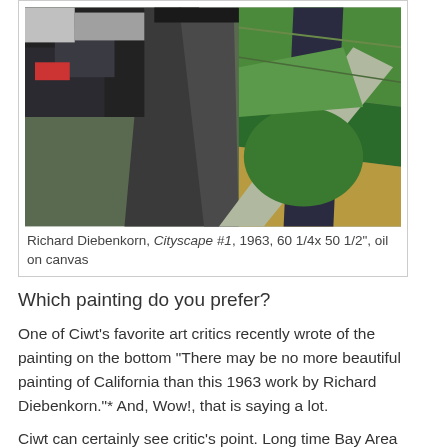[Figure (illustration): Oil painting by Richard Diebenkorn titled Cityscape #1, 1963. Abstract aerial cityscape with geometric shapes in grays, greens, and earthy tones showing roads, fields, and urban structures.]
Richard Diebenkorn, Cityscape #1, 1963, 60 1/4x 50 1/2", oil on canvas
Which painting do you prefer?
One of Ciwt's favorite art critics recently wrote of the painting on the bottom "There may be no more beautiful painting of California than this 1963 work by Richard Diebenkorn."* And, Wow!, that is saying a lot.
Ciwt can certainly see critic's point.  Long time Bay Area artist and art teacher Diebenkorn is one of her favorite